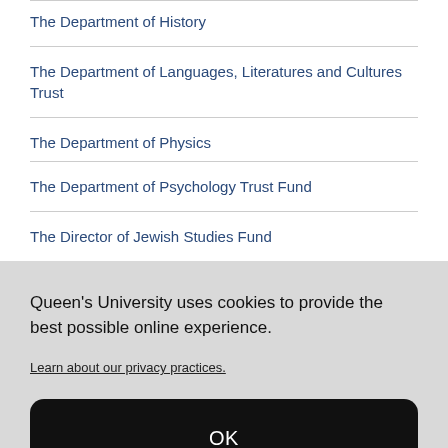The Department of History
The Department of Languages, Literatures and Cultures Trust
The Department of Physics
The Department of Psychology Trust Fund
The Director of Jewish Studies Fund
Queen's University uses cookies to provide the best possible online experience.
Learn about our privacy practices.
OK